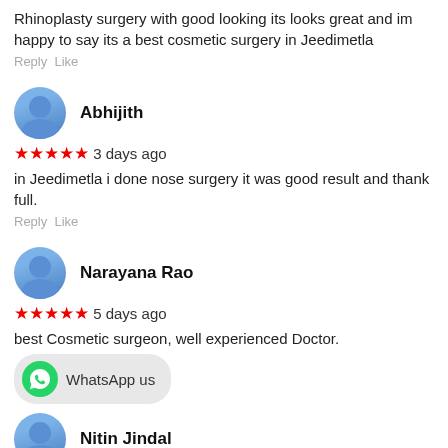Rhinoplasty surgery with good looking its looks great and im happy to say its a best cosmetic surgery in Jeedimetla
Reply Like
Abhijith
★★★★★ 3 days ago
in Jeedimetla i done nose surgery it was good result and thank full.
Reply Like
Narayana Rao
★★★★★ 5 days ago
best Cosmetic surgeon, well experienced Doctor.
[Figure (other): WhatsApp us button with green WhatsApp icon]
Nitin Jindal